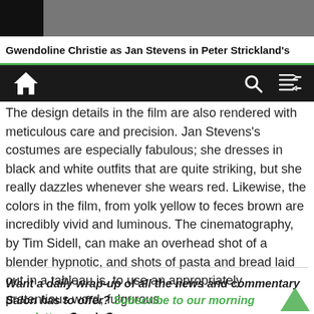[Figure (photo): Partial photo strip showing a person, mostly dark/silhouette]
Gwendoline Christie as Jan Stevens in Peter Strickland's
Navigation bar with home icon, search icon, and shuffle icon
The design details in the film are also rendered with meticulous care and precision. Jan Stevens's costumes are especially fabulous; she dresses in black and white outfits that are quite striking, but she really dazzles whenever she wears red. Likewise, the colors in the film, from yolk yellow to feces brown are incredibly vivid and luminous. The cinematography, by Tim Sidell, can make an overhead shot of a blender hypnotic, and shots of pasta and bread laid out in a tableau is, to use an appropriately pretentious word, fulgurous.
Want a daily wrap-up of all the news and commentary Salon has to offer? Subscribe to our morning newsletter, Crash Course.